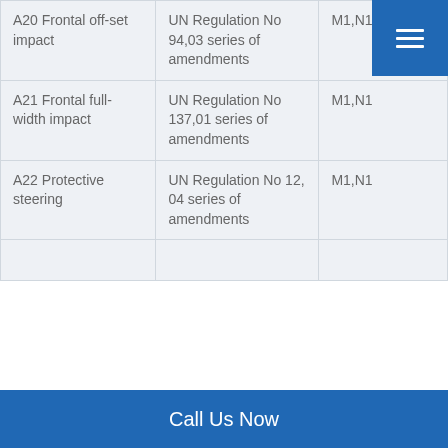| A20 Frontal off-set impact | UN Regulation No 94,03 series of amendments | M1,N1 |
| A21 Frontal full-width impact | UN Regulation No 137,01 series of amendments | M1,N1 |
| A22 Protective steering | UN Regulation No 12, 04 series of amendments | M1,N1 |
|  |  |  |
Call Us Now